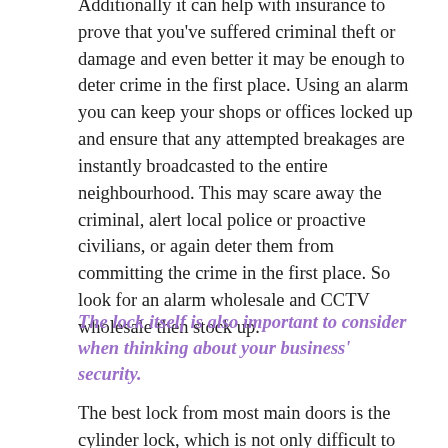Additionally it can help with insurance to prove that you've suffered criminal theft or damage and even better it may be enough to deter crime in the first place. Using an alarm you can keep your shops or offices locked up and ensure that any attempted breakages are instantly broadcasted to the entire neighbourhood. This may scare away the criminal, alert local police or proactive civilians, or again deter them from committing the crime in the first place. So look for an alarm wholesale and CCTV wholesale then stock up.
The lock itself is also important to consider when thinking about your business' security.
The best lock from most main doors is the cylinder lock, which is not only difficult to pick, but also